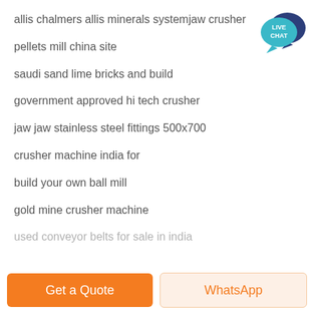allis chalmers allis minerals systemjaw crusher
pellets mill china site
saudi sand lime bricks and build
government approved hi tech crusher
jaw jaw stainless steel fittings 500x700
crusher machine india for
build your own ball mill
gold mine crusher machine
used conveyor belts for sale in india
[Figure (logo): Live Chat speech bubble badge — teal circle with dark blue chat bubble, white text LIVE CHAT]
Get a Quote
WhatsApp